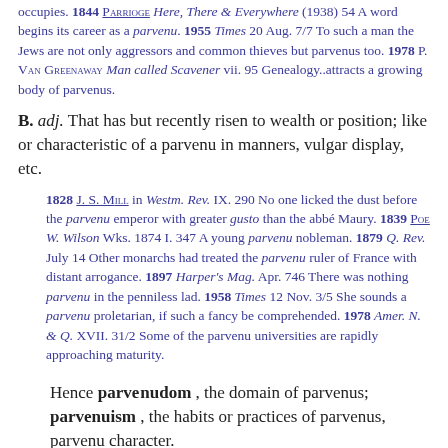occupies. 1844 PARRIDGE Here, There & Everywhere (1938) 54 A word begins its career as a parvenu. 1955 Times 20 Aug. 7/7 To such a man the Jews are not only aggressors and common thieves but parvenus too. 1978 P. VAN GREENAWAY Man called Scavener vii. 95 Genealogy..attracts a growing body of parvenus.
B. adj. That has but recently risen to wealth or position; like or characteristic of a parvenu in manners, vulgar display, etc.
1828 J. S. MILL in Westm. Rev. IX. 290 No one licked the dust before the parvenu emperor with greater gusto than the abbé Maury. 1839 POE W. Wilson Wks. 1874 I. 347 A young parvenu nobleman. 1879 Q. Rev. July 14 Other monarchs had treated the parvenu ruler of France with distant arrogance. 1897 Harper's Mag. Apr. 746 There was nothing parvenu in the penniless lad. 1958 Times 12 Nov. 3/5 She sounds a parvenu proletarian, if such a fancy be comprehended. 1978 Amer. N. & Q. XVII. 31/2 Some of the parvenu universities are rapidly approaching maturity.
Hence parvenudom , the domain of parvenus; parvenuism , the habits or practices of parvenus, parvenu character.